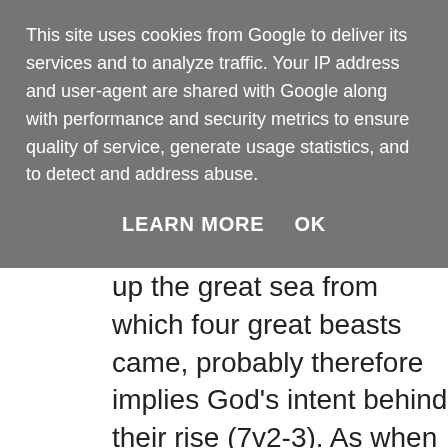This site uses cookies from Google to deliver its services and to analyze traffic. Your IP address and user-agent are shared with Google along with performance and security metrics to ensure quality of service, generate usage statistics, and to detect and address abuse.
LEARN MORE    OK
up the great sea from which four great beasts came, probably therefore implies God's intent behind their rise (7v2-3). As when Nebuchadnezzar was reduced to a beast-like state, the choice of ferocious beasts shows